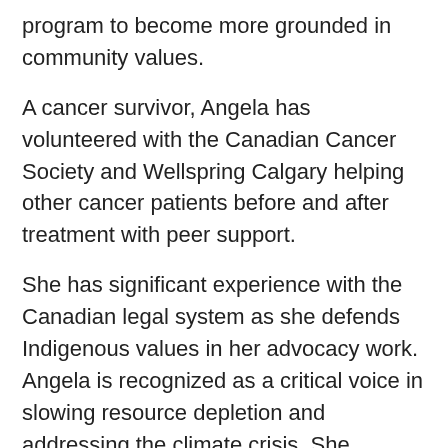program to become more grounded in community values.
A cancer survivor, Angela has volunteered with the Canadian Cancer Society and Wellspring Calgary helping other cancer patients before and after treatment with peer support.
She has significant experience with the Canadian legal system as she defends Indigenous values in her advocacy work. Angela is recognized as a critical voice in slowing resource depletion and addressing the climate crisis. She embraces the role of Deputy Leader of the Green Party of Canada, but